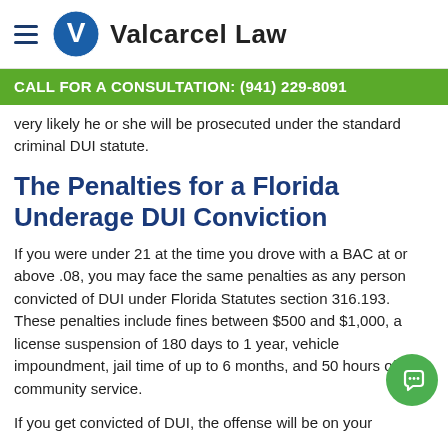Valcarcel Law
CALL FOR A CONSULTATION: (941) 229-8091
very likely he or she will be prosecuted under the standard criminal DUI statute.
The Penalties for a Florida Underage DUI Conviction
If you were under 21 at the time you drove with a BAC at or above .08, you may face the same penalties as any person convicted of DUI under Florida Statutes section 316.193. These penalties include fines between $500 and $1,000, a license suspension of 180 days to 1 year, vehicle impoundment, jail time of up to 6 months, and 50 hours of community service.
If you get convicted of DUI, the offense will be on your